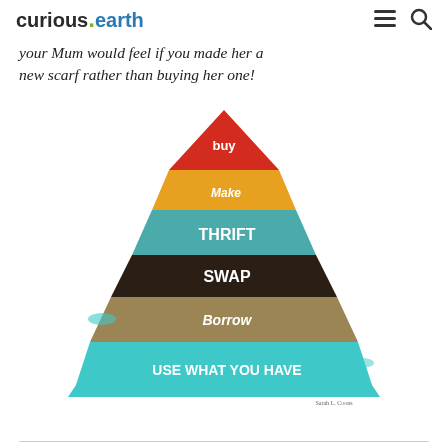curious.earth
your Mum would feel if you made her a new scarf rather than buying her one!
[Figure (infographic): A pyramid/hierarchy infographic with layers from top to bottom: BUY (red), Make (yellow/orange), THRIFT (teal), SWAP (dark brown/black), Borrow (tan/khaki), USE WHAT YOU HAVE (light teal/cyan). Each layer is progressively wider. Attribution text reads 'Sarah L. Coons' at the bottom right.]